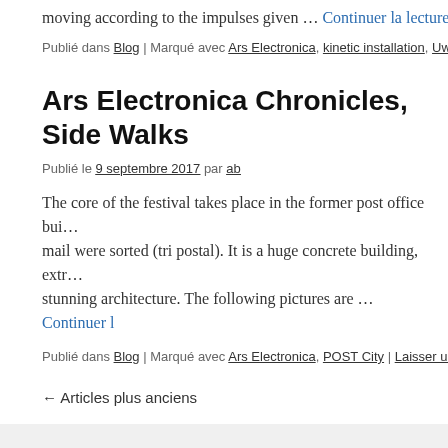moving according to the impulses given … Continuer la lecture
Publié dans Blog | Marqué avec Ars Electronica, kinetic installation, Uwe Rieg...
Ars Electronica Chronicles, Side Walks
Publié le 9 septembre 2017 par ab
The core of the festival takes place in the former post office bui... mail were sorted (tri postal). It is a huge concrete building, extre... stunning architecture. The following pictures are … Continuer l...
Publié dans Blog | Marqué avec Ars Electronica, POST City | Laisser un com...
← Articles plus anciens
annick bureaud